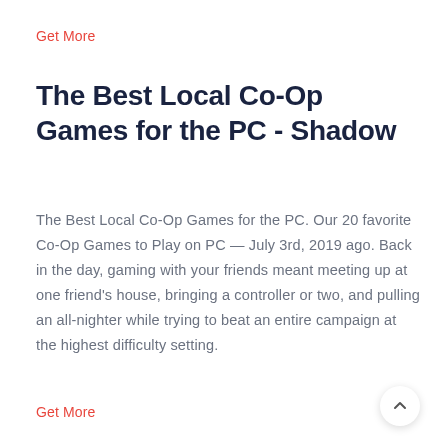Get More
The Best Local Co-Op Games for the PC - Shadow
The Best Local Co-Op Games for the PC. Our 20 favorite Co-Op Games to Play on PC — July 3rd, 2019 ago. Back in the day, gaming with your friends meant meeting up at one friend's house, bringing a controller or two, and pulling an all-nighter while trying to beat an entire campaign at the highest difficulty setting.
Get More